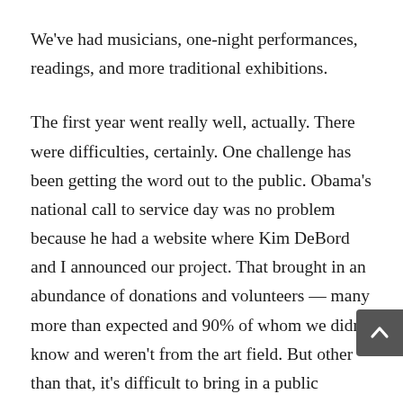We've had musicians, one-night performances, readings, and more traditional exhibitions.
The first year went really well, actually. There were difficulties, certainly. One challenge has been getting the word out to the public. Obama's national call to service day was no problem because he had a website where Kim DeBord and I announced our project. That brought in an abundance of donations and volunteers — many more than expected and 90% of whom we didn't know and weren't from the art field. But other than that, it's difficult to bring in a public audience. Maybe it's changed since I've been gone, but that was the challenge then – to get an audience other than the usual art crowd. Of course Spoke is situated in a gallery district within a building of other exhibition